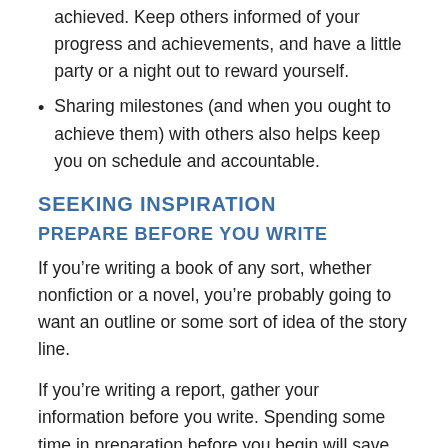achieved. Keep others informed of your progress and achievements, and have a little party or a night out to reward yourself.
Sharing milestones (and when you ought to achieve them) with others also helps keep you on schedule and accountable.
SEEKING INSPIRATION
PREPARE BEFORE YOU WRITE
If you’re writing a book of any sort, whether nonfiction or a novel, you’re probably going to want an outline or some sort of idea of the story line.
If you’re writing a report, gather your information before you write. Spending some time in preparation before you begin will save you time in